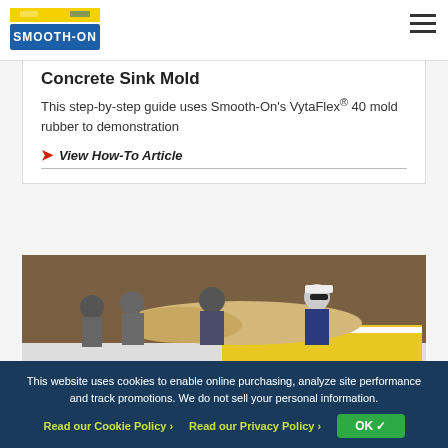Smooth-On [logo] [hamburger menu]
Concrete Sink Mold
This step-by-step guide uses Smooth-On's VytaFlex® 40 mold rubber to demonstration
› View How-To Article
[Figure (photo): Group of workers in a workshop peeling/handling a large light-colored rubber or foam mold with yellow surfaces on a table, with wooden paneling in background]
How-To Bre...
This website uses cookies to enable online purchasing, analyze site performance and track promotions. We do not sell your personal information.
Read our Cookie Policy ›   Read our Privacy Policy ›   OK ✓